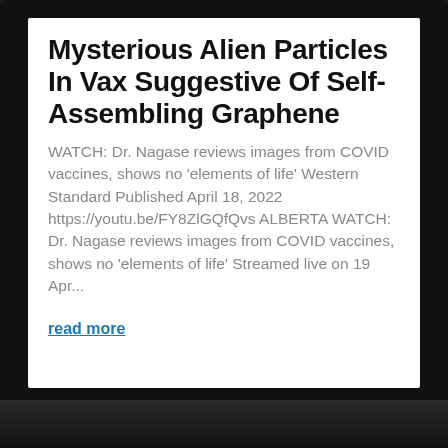Mysterious Alien Particles In Vax Suggestive Of Self-Assembling Graphene
WATCH: Dr. Nagase reviews images from COVID vaccines, shows no 'elements of life' Western Standard Published April 18, 2022 https://youtu.be/FY8ZlGQfQvs ALBERTA WATCH: Dr. Nagase reviews images from COVID vaccines, shows no 'elements of life' Streamed live on 19 Apr...
read more